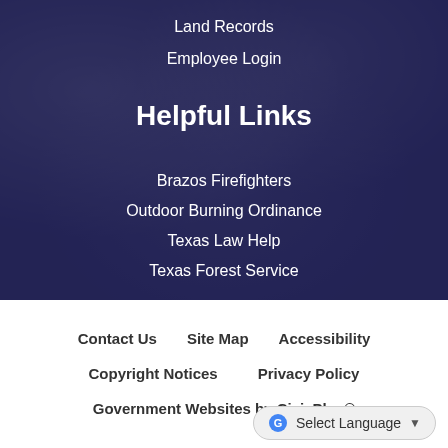Land Records
Employee Login
Helpful Links
Brazos Firefighters
Outdoor Burning Ordinance
Texas Law Help
Texas Forest Service
Contact Us   Site Map   Accessibility   Copyright Notices   Privacy Policy   Government Websites by CivicPlus®